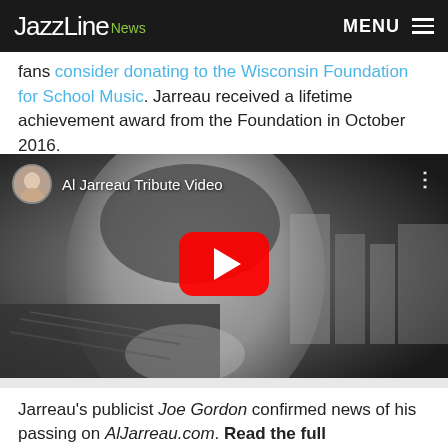JazzLine News  MENU
fans consider donating to the Wisconsin Foundation for School Music. Jarreau received a lifetime achievement award from the Foundation in October 2016.
[Figure (screenshot): YouTube video thumbnail showing Al Jarreau Tribute Video with a black-and-white photo of Al Jarreau, a YouTube play button in the center, and a channel avatar in the top left corner]
Jarreau's publicist Joe Gordon confirmed news of his passing on AlJarreau.com. Read the full announcement